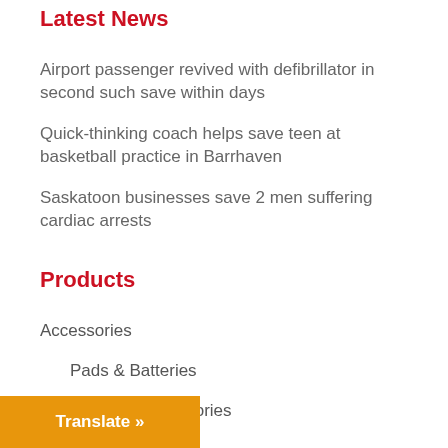Latest News
Airport passenger revived with defibrillator in second such save within days
Quick-thinking coach helps save teen at basketball practice in Barrhaven
Saskatoon businesses save 2 men suffering cardiac arrests
Products
Accessories
Pads & Batteries
Zoll AED Accessories
AED
Translate »